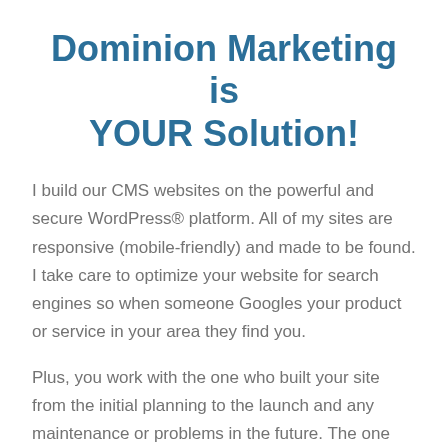Dominion Marketing is YOUR Solution!
I build our CMS websites on the powerful and secure WordPress® platform. All of my sites are responsive (mobile-friendly) and made to be found. I take care to optimize your website for search engines so when someone Googles your product or service in your area they find you.
Plus, you work with the one who built your site from the initial planning to the launch and any maintenance or problems in the future. The one who knows you AND your project.